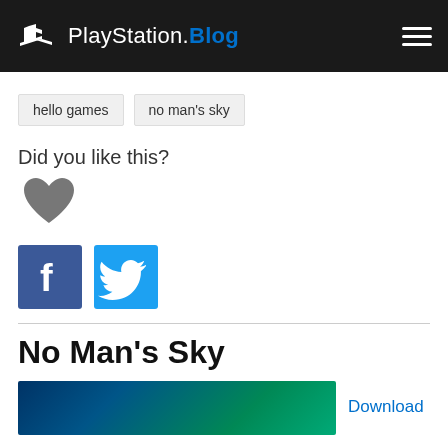PlayStation.Blog
hello games
no man's sky
Did you like this?
[Figure (illustration): Gray heart icon (like button)]
[Figure (illustration): Facebook and Twitter social share buttons]
No Man's Sky
[Figure (photo): No Man's Sky game thumbnail image (blue/teal ocean landscape)]
Download